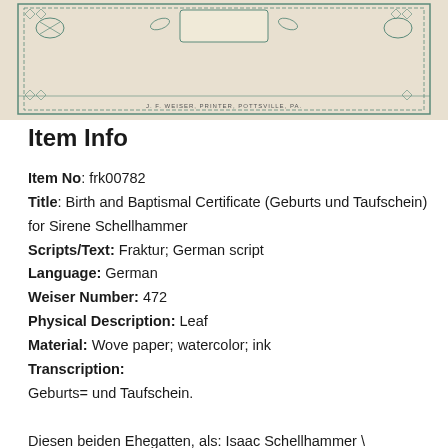[Figure (photo): Photograph of a Birth and Baptismal Certificate (Fraktur document) with decorative border and printed text, beige/cream colored paper with teal/green border decorations. Bottom reads: J. F. WEISER, PRINTER, POTTSVILLE, PA.]
Item Info
Item No: frk00782
Title: Birth and Baptismal Certificate (Geburts und Taufschein) for Sirene Schellhammer
Scripts/Text: Fraktur; German script
Language: German
Weiser Number: 472
Physical Description: Leaf
Material: Wove paper; watercolor; ink
Transcription:
Geburts= und Taufschein.

Diesen beiden Ehegatten, als: Isaac Schellhammer \